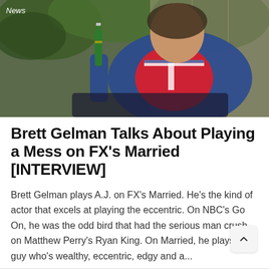[Figure (photo): Man in blue blazer and Union Jack t-shirt holding a green beer bottle, seated outdoors with foliage in background. 'News' label overlaid in white italic text on the photo.]
Brett Gelman Talks About Playing a Mess on FX's Married [INTERVIEW]
Brett Gelman plays A.J. on FX's Married. He's the kind of actor that excels at playing the eccentric. On NBC's Go On, he was the odd bird that had the serious man crush on Matthew Perry's Ryan King. On Married, he plays a guy who's wealthy, eccentric, edgy and a...